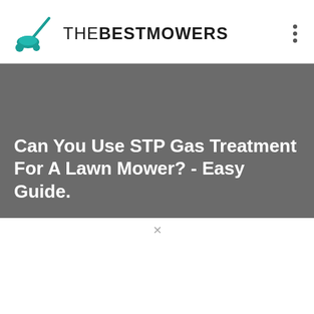[Figure (logo): TheBestMowers logo with teal lawn mower icon and stylized text 'TheBestMowers' in black uppercase]
Can You Use STP Gas Treatment For A Lawn Mower? - Easy Guide.